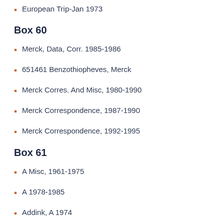European Trip-Jan 1973
Box 60
Merck, Data, Corr. 1985-1986
651461 Benzothiopheves, Merck
Merck Corres. And Misc, 1980-1990
Merck Correspondence, 1987-1990
Merck Correspondence, 1992-1995
Box 61
A Misc, 1961-1975
A 1978-1985
Addink, A 1974
Alcon 1980